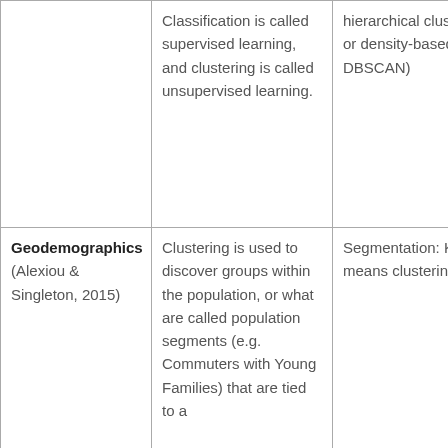|  | Classification is called supervised learning, and clustering is called unsupervised learning. | hierarchical clustering, or density-based (e.g., DBSCAN) |
| Geodemographics (Alexiou & Singleton, 2015) | Clustering is used to discover groups within the population, or what are called population segments (e.g. Commuters with Young Families) that are tied to a | Segmentation: K-means clustering |